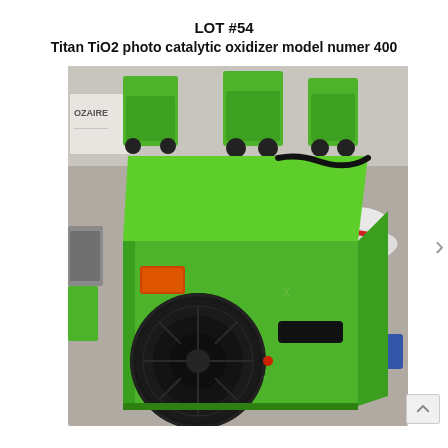LOT #54
Titan TiO2 photo catalytic oxidizer model numer 400
[Figure (photo): Green Titan TiO2 photo catalytic oxidizer (model 400) sitting on a warehouse floor, with a large circular fan on the front face and a black power cord on top. In the background are other green air-mover machines on wheels and white bagged items with a red strap. A sign reading 'OZAIRE' is partially visible on the left.]